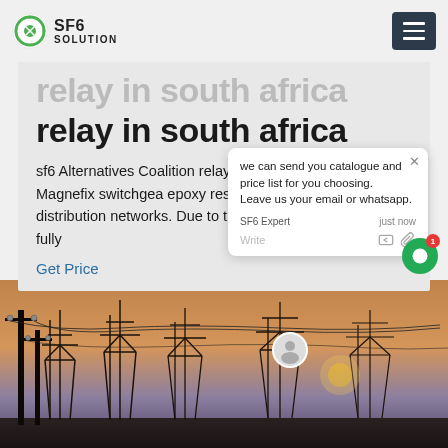SF6 SOLUTION
relay in south africa
sf6 Alternatives Coalition relay in south africaMagnefix. Magnefix switchgea epoxy resin insulated Ring Main Un / distribution networks. Due to the co construction and the fully
Get Price
[Figure (screenshot): Chat popup overlay with message: we can send you catalogue and price list for you choosing. Leave us your email or whatsapp. SF6 Expert just now. Write.]
[Figure (photo): Electrical power substation with transmission towers and power lines at sunset/dusk sky, warm orange and purple tones.]